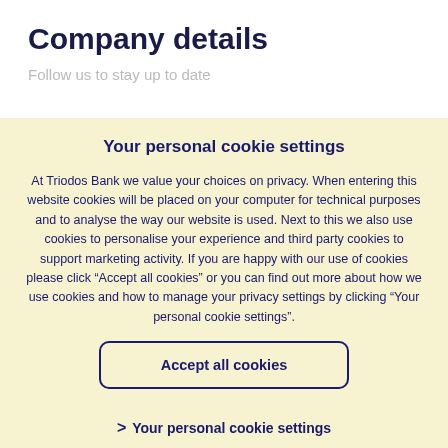Company details
Follow us to stay up to date
Your personal cookie settings
At Triodos Bank we value your choices on privacy. When entering this website cookies will be placed on your computer for technical purposes and to analyse the way our website is used. Next to this we also use cookies to personalise your experience and third party cookies to support marketing activity. If you are happy with our use of cookies please click “Accept all cookies” or you can find out more about how we use cookies and how to manage your privacy settings by clicking “Your personal cookie settings”.
Accept all cookies
> Your personal cookie settings